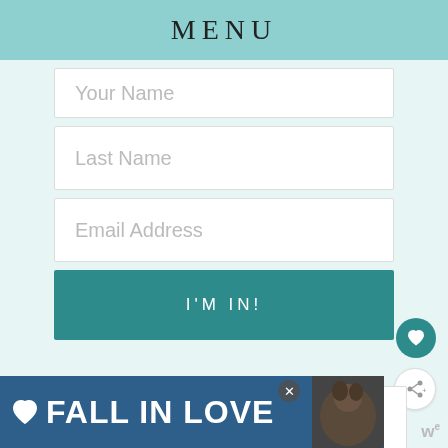MENU
Your Name
Last Name
Email Address
I'M IN!
you'll also love
[Figure (screenshot): Advertisement banner: FALL IN LOVE with dog image and heart icon, close button, and WW logo]